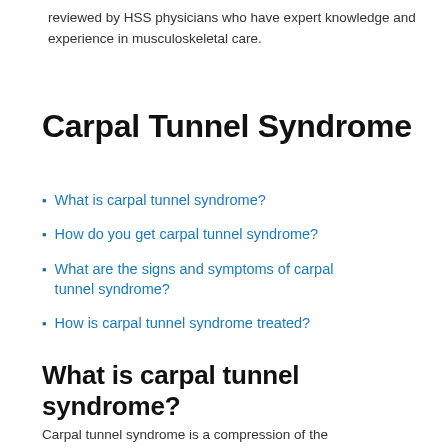reviewed by HSS physicians who have expert knowledge and experience in musculoskeletal care.
Carpal Tunnel Syndrome
What is carpal tunnel syndrome?
How do you get carpal tunnel syndrome?
What are the signs and symptoms of carpal tunnel syndrome?
How is carpal tunnel syndrome treated?
What is carpal tunnel syndrome?
Carpal tunnel syndrome is a compression of the